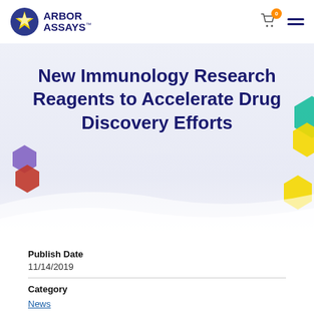Arbor Assays
New Immunology Research Reagents to Accelerate Drug Discovery Efforts
Publish Date
11/14/2019
Category
News
Keywords